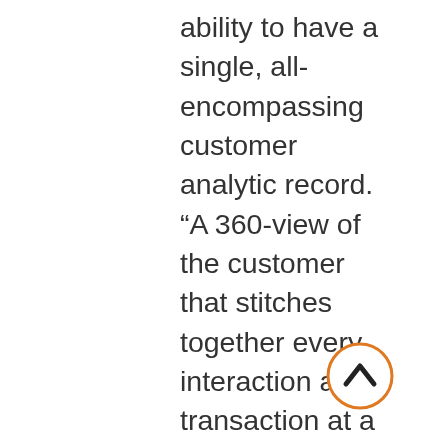ability to have a single, all-encompassing customer analytic record. “A 360-view of the customer that stitches together every interaction and transaction at a customer level and helps you understand their needs and their latent needs, and helps you think through more intelligent ways in which you could build relevance and engagement with your customers is important. While on the credit card side, we have a lot of data to go with in order to come up with a better picture of the customer, the challenge to this immense opportunity is to separate the signal from the noise. The key lies in taking advantage of every interaction and transaction, drawing meaning from that, and understanding
[Figure (other): A circular back/up navigation button with an orange border and a chevron/caret pointing upward.]